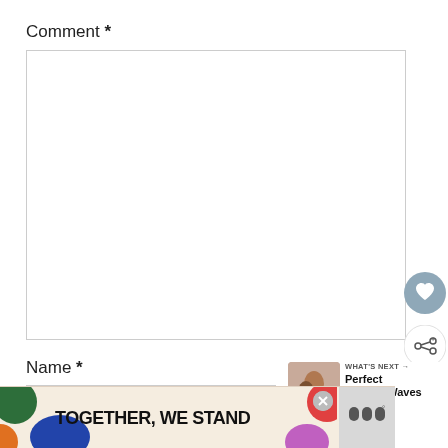Comment *
[Figure (screenshot): Empty comment text area input box with light grey border]
[Figure (other): Heart/like circular button in grey-blue color]
[Figure (other): Share circular button with white background and shadow]
Name *
[Figure (screenshot): Empty name input field with light grey border]
[Figure (other): WHAT'S NEXT → Perfect Beachy Waves promotional thumbnail]
[Figure (other): Advertisement banner: TOGETHER, WE STAND with colorful decorative shapes and a close button]